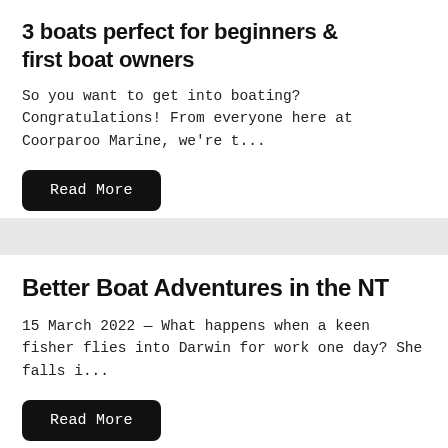3 boats perfect for beginners & first boat owners
So you want to get into boating? Congratulations! From everyone here at Coorparoo Marine, we're t...
Read More
Better Boat Adventures in the NT
15 March 2022 — What happens when a keen fisher flies into Darwin for work one day? She falls i...
Read More